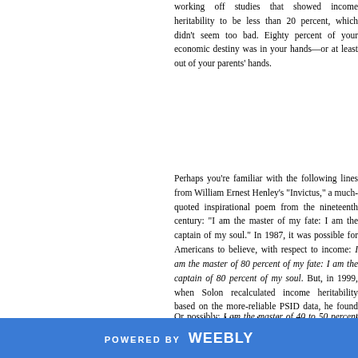working off studies that showed income heritability to be less than 20 percent, which didn't seem too bad. Eighty percent of your economic destiny was in your hands—or at least out of your parents' hands.
Perhaps you're familiar with the following lines from William Ernest Henley's "Invictus," a much-quoted inspirational poem from the nineteenth century: "I am the master of my fate: I am the captain of my soul." In 1987, it was possible for Americans to believe, with respect to income: I am the master of 80 percent of my fate: I am the captain of 80 percent of my soul. But, in 1999, when Solon recalculated income heritability based on the more-reliable PSID data, he found income heritability to be at least 40 percent—and possibly higher." I am the master of 60 percent of my fate.
Or possibly: I am the master of 40 to 50 percent of my fate. In 2001, Bhashkar Mazumder, an economist with the Federal Reserve Ba
POWERED BY weebly